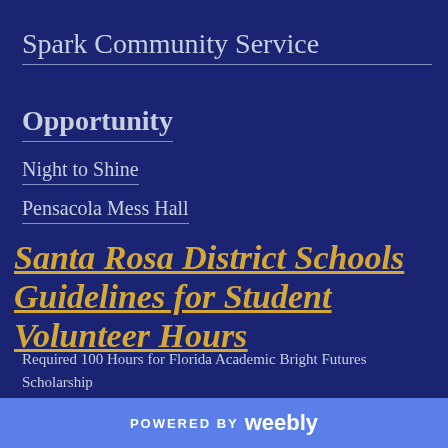Spark Community Service Opportunity
Night to Shine
Pensacola Mess Hall
Santa Rosa District Schools Guidelines for Student Volunteer Hours
Required 100 Hours for Florida Academic Bright Futures Scholarship
Required 75 Hours for Florida Medallion Bright Futures Scholarship
POWERED BY weebly